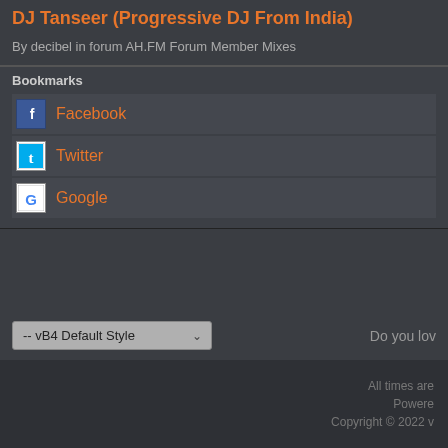DJ Tanseer (Progressive DJ From India)
By decibel in forum AH.FM Forum Member Mixes
Bookmarks
Facebook
Twitter
Google
-- vB4 Default Style
Do you lov
All times are
Powere
Copyright © 2022 v